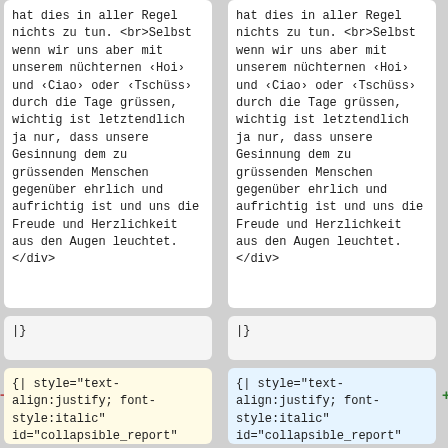hat dies in aller Regel nichts zu tun.
<br>Selbst wenn wir uns aber mit unserem nüchternen ‹Hoi› und ‹Ciao› oder ‹Tschüss› durch die Tage grüssen, wichtig ist letztendlich ja nur, dass unsere Gesinnung dem zu grüssenden Menschen gegenüber ehrlich und aufrichtig ist und uns die Freude und Herzlichkeit aus den Augen leuchtet.
</div>
hat dies in aller Regel nichts zu tun.
<br>Selbst wenn wir uns aber mit unserem nüchternen ‹Hoi› und ‹Ciao› oder ‹Tschüss› durch die Tage grüssen, wichtig ist letztendlich ja nur, dass unsere Gesinnung dem zu grüssenden Menschen gegenüber ehrlich und aufrichtig ist und uns die Freude und Herzlichkeit aus den Augen leuchtet.
</div>
|}
|}
{| style="text-align:justify; font-style:italic" id="collapsible_report"
{| style="text-align:justify; font-style:italic" id="collapsible_report" class="blockquote"